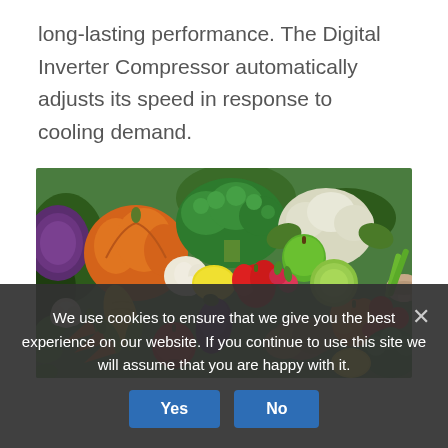long-lasting performance. The Digital Inverter Compressor automatically adjusts its speed in response to cooling demand.
[Figure (photo): A colorful overhead photo of a variety of fresh fruits and vegetables including broccoli, pumpkin, garlic, carrots, peppers, apples, tomatoes, corn, cabbage, and more.]
We use cookies to ensure that we give you the best experience on our website. If you continue to use this site we will assume that you are happy with it.